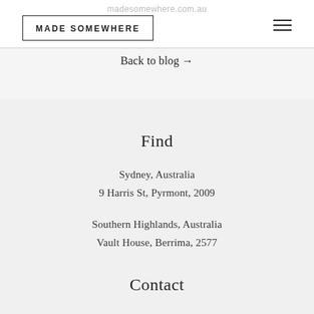madesomewhere.com.au
[Figure (logo): MADE SOMEWHERE brand logo in a rectangular border]
Back to blog →
Find
Sydney, Australia
9 Harris St, Pyrmont, 2009
Southern Highlands, Australia
Vault House, Berrima, 2577
Contact